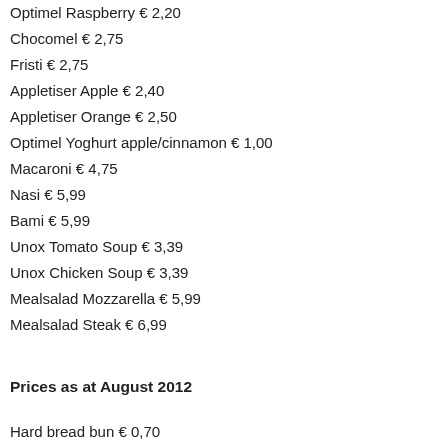Optimel Raspberry € 2,20
Chocomel € 2,75
Fristi € 2,75
Appletiser Apple € 2,40
Appletiser Orange € 2,50
Optimel Yoghurt apple/cinnamon € 1,00
Macaroni € 4,75
Nasi € 5,99
Bami € 5,99
Unox Tomato Soup € 3,39
Unox Chicken Soup € 3,39
Mealsalad Mozzarella € 5,99
Mealsalad Steak € 6,99
Prices as at August 2012
Hard bread bun € 0,70